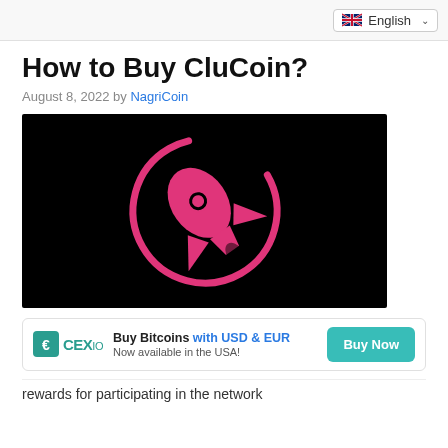English
How to Buy CluCoin?
August 8, 2022 by NagriCoin
[Figure (logo): CluCoin logo — a hot-pink rocket ship inside a circular orbit on a black background]
[Figure (logo): CEX.IO advertisement banner: CEX.IO logo on the left, text 'Buy Bitcoins with USD & EUR — Now available in the USA!' in the center, and a teal 'Buy Now' button on the right]
rewards for participating in the network